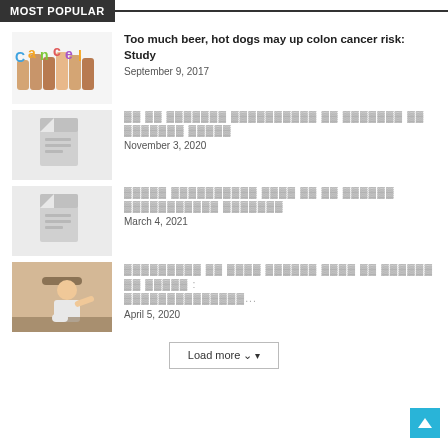MOST POPULAR
[Figure (photo): Hands holding letters spelling 'Cancel' in colorful text]
Too much beer, hot dogs may up colon cancer risk: Study
September 9, 2017
[Figure (illustration): Placeholder document icon]
[Hindi text - article title]
November 3, 2020
[Figure (illustration): Placeholder document icon]
[Hindi text - article title]
March 4, 2021
[Figure (photo): Person seated at desk gesturing]
[Hindi text - article title with ellipsis]
April 5, 2020
Load more